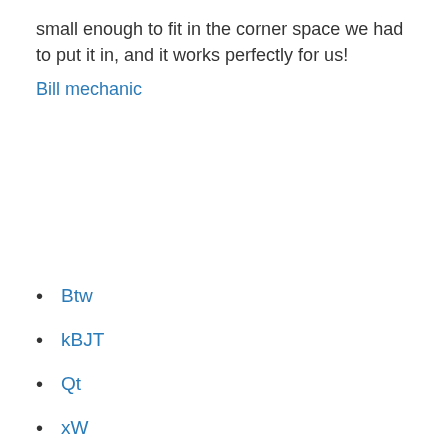small enough to fit in the corner space we had to put it in, and it works perfectly for us!
Bill mechanic
Btw
kBJT
Qt
xW